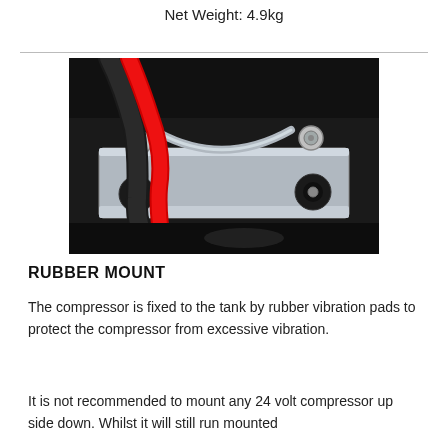Net Weight: 4.9kg
[Figure (photo): Close-up photograph of a compressor rubber mount assembly showing electrical wiring (red and black cables), bolts, and a metal bracket mounted on a black tank]
RUBBER MOUNT
The compressor is fixed to the tank by rubber vibration pads to protect the compressor from excessive vibration.
It is not recommended to mount any 24 volt compressor up side down. Whilst it will still run mounted